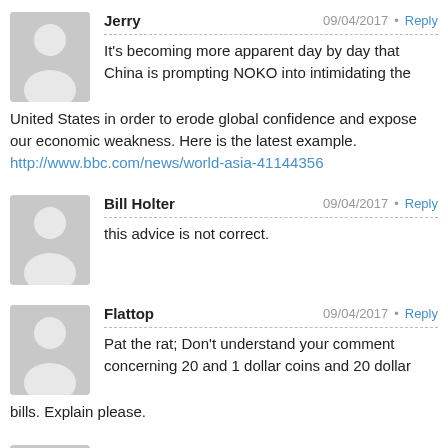Jerry  09/04/2017 · Reply
It's becoming more apparent day by day that China is prompting NOKO into intimidating the United States in order to erode global confidence and expose our economic weakness. Here is the latest example.
http://www.bbc.com/news/world-asia-41144356
Bill Holter  09/04/2017 · Reply
this advice is not correct.
Flattop  09/04/2017 · Reply
Pat the rat; Don't understand your comment concerning 20 and 1 dollar coins and 20 dollar bills. Explain please.
Elusive Joseph  09/04/2017 · Reply